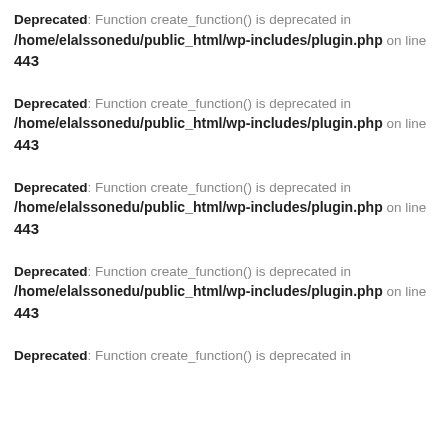Deprecated: Function create_function() is deprecated in /home/elalssonedu/public_html/wp-includes/plugin.php on line 443
Deprecated: Function create_function() is deprecated in /home/elalssonedu/public_html/wp-includes/plugin.php on line 443
Deprecated: Function create_function() is deprecated in /home/elalssonedu/public_html/wp-includes/plugin.php on line 443
Deprecated: Function create_function() is deprecated in /home/elalssonedu/public_html/wp-includes/plugin.php on line 443
Deprecated: Function create_function() is deprecated in